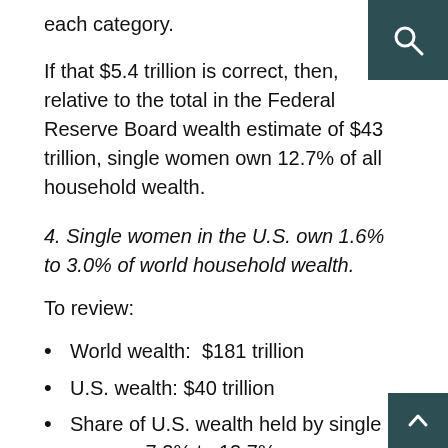each category.
If that $5.4 trillion is correct, then, relative to the total in the Federal Reserve Board wealth estimate of $43 trillion, single women own 12.7% of all household wealth.
4. Single women in the U.S. own 1.6% to 3.0% of world household wealth.
To review:
World wealth:  $181 trillion
U.S. wealth: $40 trillion
Share of U.S. wealth held by single women: 7.2% to 12.7%
Thus, my range of estimates for share of world wealth